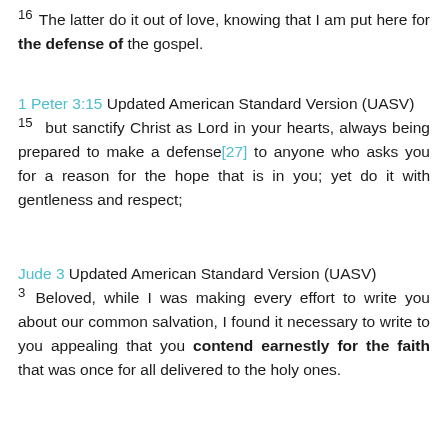16 The latter do it out of love, knowing that I am put here for the defense of the gospel.
1 Peter 3:15 Updated American Standard Version (UASV)
15 but sanctify Christ as Lord in your hearts, always being prepared to make a defense[27] to anyone who asks you for a reason for the hope that is in you; yet do it with gentleness and respect;
Jude 3 Updated American Standard Version (UASV)
3 Beloved, while I was making every effort to write you about our common salvation, I found it necessary to write to you appealing that you contend earnestly for the faith that was once for all delivered to the holy ones.